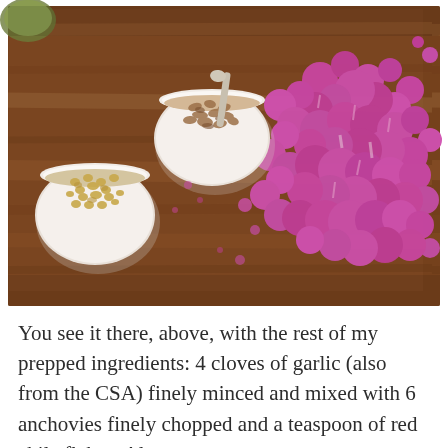[Figure (photo): Overhead view of a wooden cutting board with purple/magenta cauliflower florets spread out, a small white ramekin with golden raisins, and another white ramekin with chopped nuts and a spoon.]
You see it there, above, with the rest of my prepped ingredients: 4 cloves of garlic (also from the CSA) finely minced and mixed with 6 anchovies finely chopped and a teaspoon of red chile flakes. Also,